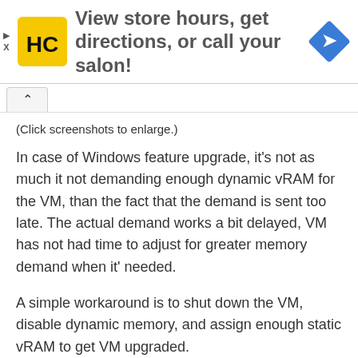[Figure (infographic): Advertisement banner with HC (Hair Club) yellow logo on left, text 'View store hours, get directions, or call your salon!' in center, and blue navigation diamond icon on right. Play and X controls on far left.]
(Click screenshots to enlarge.)
In case of Windows feature upgrade, it's not as much it not demanding enough dynamic vRAM for the VM, than the fact that the demand is sent too late. The actual demand works a bit delayed, VM has not had time to adjust for greater memory demand when it' needed.
A simple workaround is to shut down the VM, disable dynamic memory, and assign enough static vRAM to get VM upgraded.